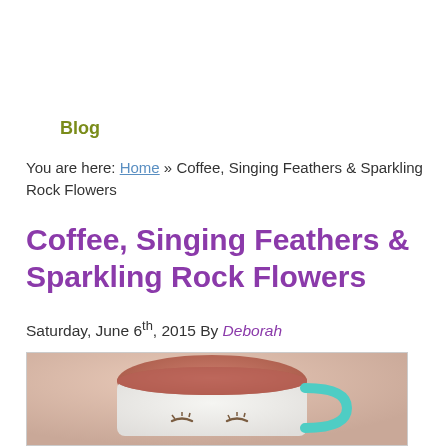Blog
You are here: Home » Coffee, Singing Feathers & Sparkling Rock Flowers
Coffee, Singing Feathers & Sparkling Rock Flowers
Saturday, June 6th, 2015 By Deborah
[Figure (photo): A white ceramic coffee mug with a face design and teal handle, containing a reddish-brown hot beverage, photographed from above at an angle on a pink/beige background.]